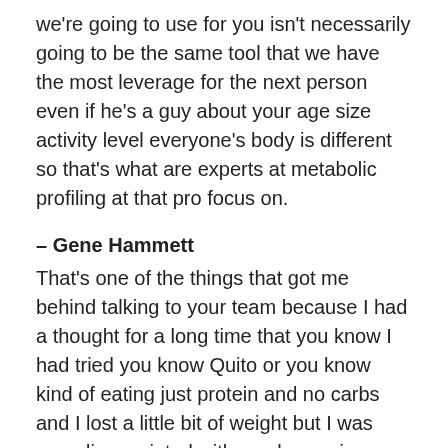we're going to use for you isn't necessarily going to be the same tool that we have the most leverage for the next person even if he's a guy about your age size activity level everyone's body is different so that's what are experts at metabolic profiling at that pro focus on.
– Gene Hammett
That's one of the things that got me behind talking to your team because I had a thought for a long time that you know I had tried you know Quito or you know kind of eating just protein and no carbs and I lost a little bit of weight but I was very disappointed with you know six pounds over six months and I gave up coffee and beer and sugar and I gave up carbs completely in six